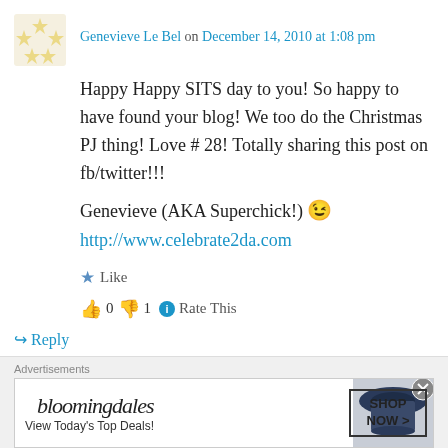Genevieve Le Bel on December 14, 2010 at 1:08 pm
Happy Happy SITS day to you! So happy to have found your blog! We too do the Christmas PJ thing! Love # 28! Totally sharing this post on fb/twitter!!!
Genevieve (AKA Superchick!) 😉
http://www.celebrate2da.com
★ Like
👍 0 👎 1 ℹ Rate This
↪ Reply
Advertisements
[Figure (other): Bloomingdale's advertisement banner with hat model and SHOP NOW button]